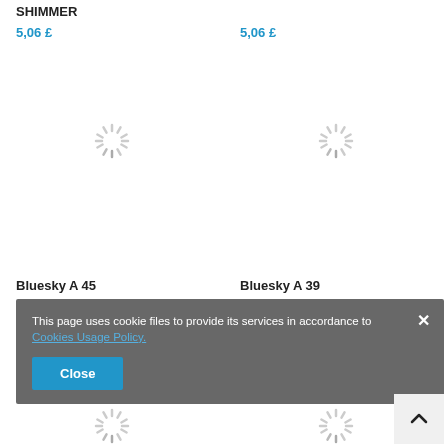SHIMMER
5,06 £
5,06 £
[Figure (illustration): Loading spinner icon (circular dashed/spoked loader)]
[Figure (illustration): Loading spinner icon (circular dashed/spoked loader)]
Bluesky A 45
5,06 £
Bluesky A 39
5,06 £
This page uses cookie files to provide its services in accordance to Cookies Usage Policy.
Close
[Figure (illustration): Loading spinner icons at bottom of page]
[Figure (illustration): Scroll-to-top button with upward chevron]